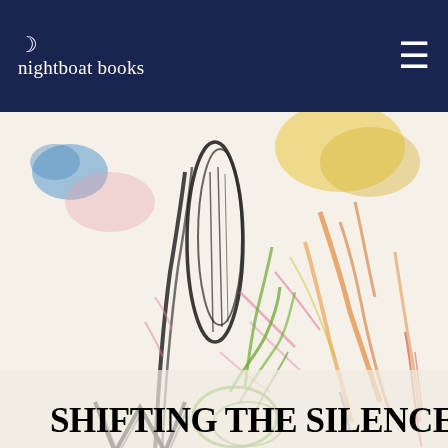nightboat books
[Figure (illustration): Book cover artwork for 'Shifting the Silence' — a colorful crayon or pastel drawing on cream background featuring abstract botanical/organic forms in black, green, yellow, orange, pink, blue, and red scribbled lines suggesting plants or foliage.]
SHIFTING THE SILENCE